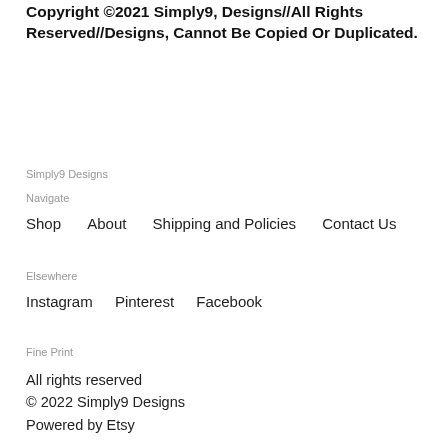Copyright ©2021 Simply9, Designs//All Rights Reserved//Designs, Cannot Be Copied Or Duplicated.
Simply9 Designs
Navigate
Shop
About
Shipping and Policies
Contact Us
Elsewhere
Instagram
Pinterest
Facebook
Fine Print
All rights reserved
© 2022 Simply9 Designs
Powered by Etsy